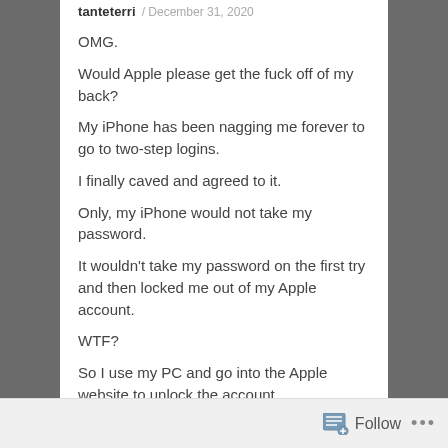tanteterri / December 31, 2020
OMG.
Would Apple please get the fuck off of my back?
My iPhone has been nagging me forever to go to two-step logins.
I finally caved and agreed to it.
Only, my iPhone would not take my password.
It wouldn't take my password on the first try and then locked me out of my Apple account.
WTF?
So I use my PC and go into the Apple website to unlock the account.
Follow ...